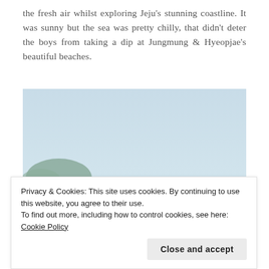the fresh air whilst exploring Jeju's stunning coastline. It was sunny but the sea was pretty chilly, that didn't deter the boys from taking a dip at Jungmung & Hyeopjae's beautiful beaches.
[Figure (photo): A young blond child at a beach with turquoise sea, rocks, and hills in the background. The child has one arm raised. Jeju coastline scenery.]
Privacy & Cookies: This site uses cookies. By continuing to use this website, you agree to their use.
To find out more, including how to control cookies, see here: Cookie Policy
Close and accept